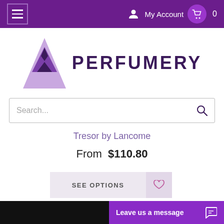My Account  0
[Figure (logo): Perfumery logo with purple triangle/mountain shape and text PERFUMERY]
Search...
Tresor by Lancome
From  $110.80
SEE OPTIONS
Leave us a message